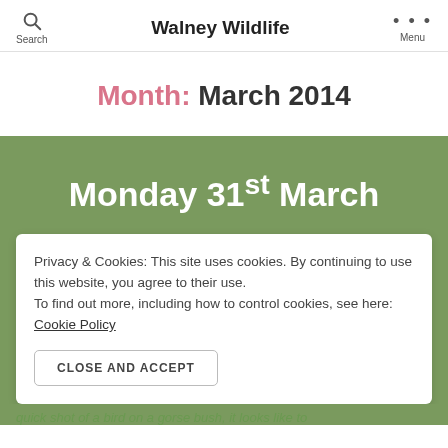Search  Walney Wildlife  Menu
Month: March 2014
Monday 31st March
Privacy & Cookies: This site uses cookies. By continuing to use this website, you agree to their use.
To find out more, including how to control cookies, see here: Cookie Policy
CLOSE AND ACCEPT
quick shot of a bird on a gorse bush, it looks like to